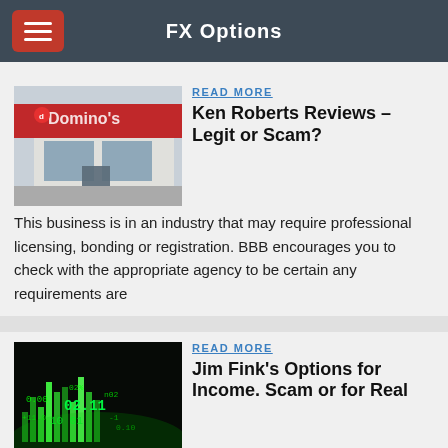FX Options
[Figure (photo): Domino's Pizza storefront exterior with red signage]
READ MORE
Ken Roberts Reviews - Legit or Scam?
This business is in an industry that may require professional licensing, bonding or registration. BBB encourages you to check with the appropriate agency to be certain any requirements are
[Figure (photo): Dark trading screen with green glowing financial data and numbers]
READ MORE
Jim Fink's Options for Income. Scam or for Real
2017/10/28 · Binary Option Robot. In today's article, our professional trader Michael Allen will teach you how to spot binary options trading